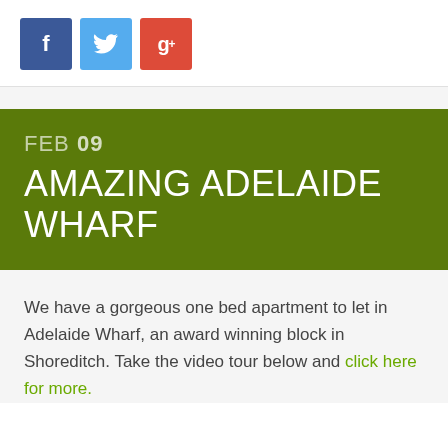[Figure (other): Social media share buttons: Facebook (blue), Twitter (light blue), Google+ (red)]
FEB 09
AMAZING ADELAIDE WHARF
We have a gorgeous one bed apartment to let in Adelaide Wharf, an award winning block in Shoreditch. Take the video tour below and click here for more.